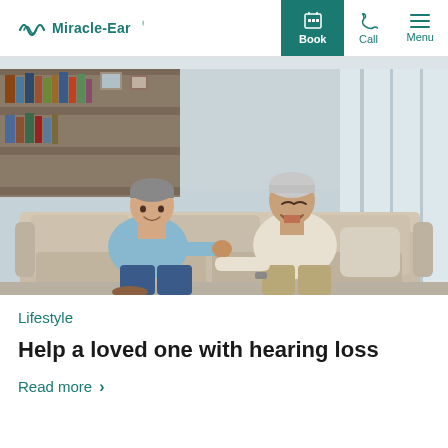Miracle-Ear | Book | Call | Menu
[Figure (photo): Two men sitting on a beige sofa laughing and talking together in a bright living room with bookshelves in the background. One man is younger wearing a light blue shirt and jeans, the other is older wearing a cream sweater and khaki pants.]
Lifestyle
Help a loved one with hearing loss
Read more >